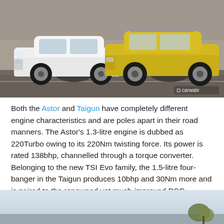[Figure (photo): Two SUVs driving side by side on a road — a white MG Astor on the left and a yellow Volkswagen Taigun on the right, with motion blur in the background. CarWale watermark in bottom right corner.]
Both the Astor and Taigun have completely different engine characteristics and are poles apart in their road manners. The Astor's 1.3-litre engine is dubbed as 220Turbo owing to its 220Nm twisting force. Its power is rated 138bhp, channelled through a torque converter. Belonging to the new TSI Evo family, the 1.5-litre four-banger in the Taigun produces 10bhp and 30Nm more and is paired to the renowned yet much-improved DSG.
[Figure (photo): Partial view of a car on a road with light blue sky background and a small plant/tree visible on the right side, cropped at the bottom of the page.]